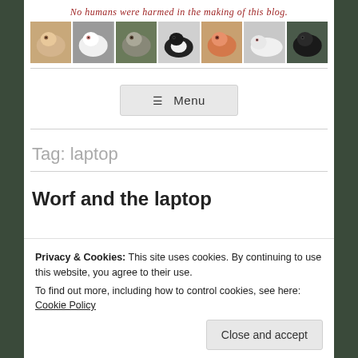No humans were harmed in the making of this blog.
[Figure (photo): A horizontal strip of 7 guinea pig photos in various colors and poses]
Menu
Tag: laptop
Worf and the laptop
Privacy & Cookies: This site uses cookies. By continuing to use this website, you agree to their use. To find out more, including how to control cookies, see here: Cookie Policy
Close and accept
bedding in my room. Usually I just freeze: although